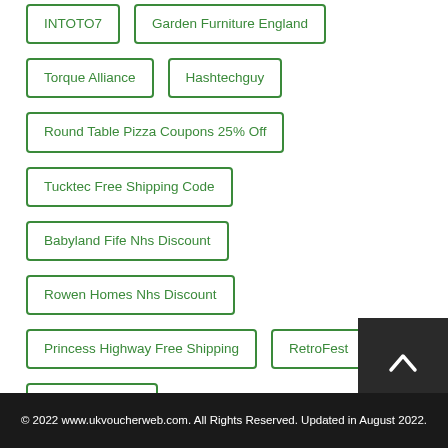INTOTO7
Garden Furniture England
Torque Alliance
Hashtechguy
Round Table Pizza Coupons 25% Off
Tucktec Free Shipping Code
Babyland Fife Nhs Discount
Rowen Homes Nhs Discount
Princess Highway Free Shipping
RetroFest
Floorless Floors
© 2022 www.ukvoucherweb.com. All Rights Reserved. Updated in August 2022.